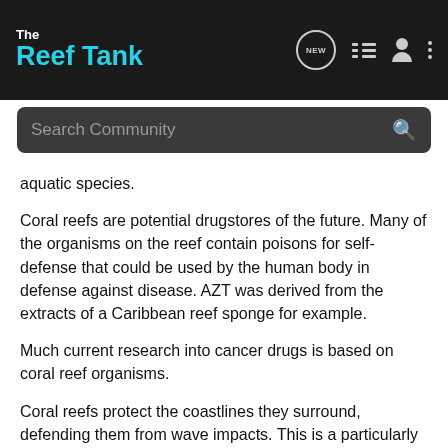The Reef Tank
aquatic species.
Coral reefs are potential drugstores of the future. Many of the organisms on the reef contain poisons for self-defense that could be used by the human body in defense against disease. AZT was derived from the extracts of a Caribbean reef sponge for example.
Much current research into cancer drugs is based on coral reef organisms.
Coral reefs protect the coastlines they surround, defending them from wave impacts. This is a particularly vital role in the typhoon belts of the world where frequent passage of violent winds would otherwise have a terrible effect on islands and their communities.